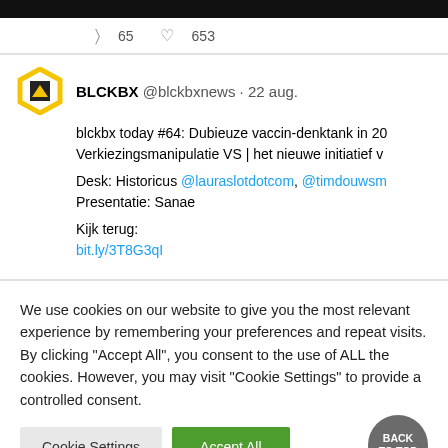[Figure (screenshot): Black bar at top of tweet card]
65  653
BLCKBX @blckbxnews · 22 aug.
blckbx today #64: Dubieuze vaccin-denktank in 20...
Verkiezingsmanipulatie VS | het nieuwe initiatief v...

Desk: Historicus @lauraslotdotcom, @timdouwsm...
Presentatie: Sanae

Kijk terug:
bit.ly/3T8G3qI
We use cookies on our website to give you the most relevant experience by remembering your preferences and repeat visits. By clicking "Accept All", you consent to the use of ALL the cookies. However, you may visit "Cookie Settings" to provide a controlled consent.
Cookie Settings
Accept All
BACK TO TOP